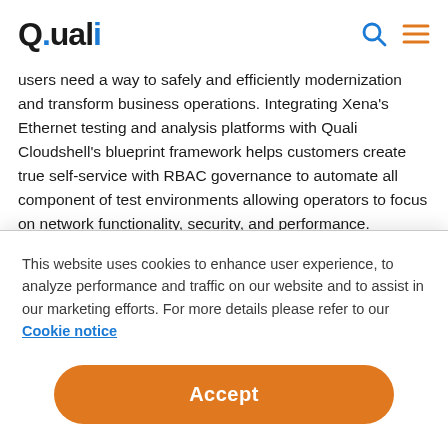Quali
users need a way to safely and efficiently modernization and transform business operations. Integrating Xena's Ethernet testing and analysis platforms with Quali Cloudshell's blueprint framework helps customers create true self-service with RBAC governance to automate all component of test environments allowing operators to focus on network functionality, security, and performance.
This website uses cookies to enhance user experience, to analyze performance and traffic on our website and to assist in our marketing efforts. For more details please refer to our Cookie notice
Accept
Cookies Settings